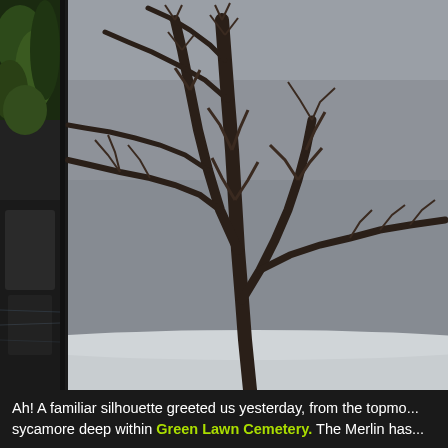[Figure (photo): Left edge strip showing green foliage and a stone or water feature, partially visible along the left margin]
[Figure (photo): Large photo of bare winter tree silhouette with dark tangled branches against a gray overcast sky, with snow visible at the bottom edge]
Ah! A familiar silhouette greeted us yesterday, from the topmo... sycamore deep within Green Lawn Cemetery. The Merlin has...
While participating in yesterday's Columbus Christmas Bird C... and I navigated the labyrinth of roads within the massive 360-...